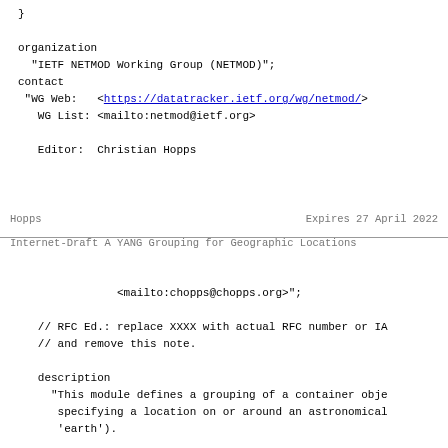}

organization
  "IETF NETMOD Working Group (NETMOD)";
contact
 "WG Web:   <https://datatracker.ietf.org/wg/netmod/>
   WG List: <mailto:netmod@ietf.org>

   Editor:  Christian Hopps
Hopps                          Expires 27 April 2022
Internet-Draft  A YANG Grouping for Geographic Locations
<mailto:chopps@chopps.org>";

   // RFC Ed.: replace XXXX with actual RFC number or IA
   // and remove this note.

   description
     "This module defines a grouping of a container obje
      specifying a location on or around an astronomical
      'earth').

      Copyright (c) 2019 IETF Trust and the persons iden
      authors of the code.  All rights reserved.